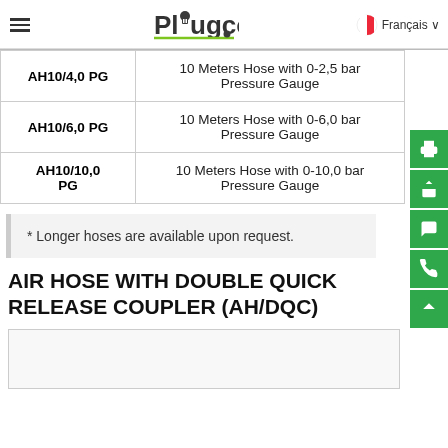Plugco — Français
| Code | Description |
| --- | --- |
| AH10/4,0 PG | 10 Meters Hose with 0-2,5 bar Pressure Gauge |
| AH10/6,0 PG | 10 Meters Hose with 0-6,0 bar Pressure Gauge |
| AH10/10,0 PG | 10 Meters Hose with 0-10,0 bar Pressure Gauge |
* Longer hoses are available upon request.
AIR HOSE WITH DOUBLE QUICK RELEASE COUPLER (AH/DQC)
[Figure (photo): Product image placeholder area at bottom of page]